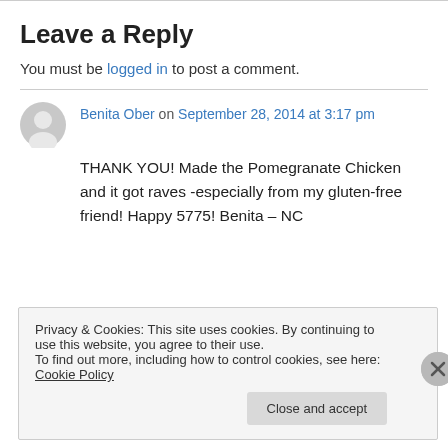Leave a Reply
You must be logged in to post a comment.
Benita Ober on September 28, 2014 at 3:17 pm
THANK YOU! Made the Pomegranate Chicken and it got raves -especially from my gluten-free friend! Happy 5775! Benita – NC
Privacy & Cookies: This site uses cookies. By continuing to use this website, you agree to their use. To find out more, including how to control cookies, see here: Cookie Policy